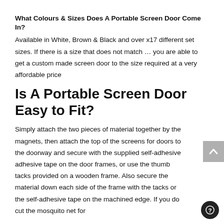What Colours & Sizes Does A Portable Screen Door Come In?
Available in White, Brown & Black and over x17 different set sizes. If there is a size that does not match … you are able to get a custom made screen door to the size required at a very affordable price
Is A Portable Screen Door Easy to Fit?
Simply attach the two pieces of material together by the magnets, then attach the top of the screens for doors to the doorway and secure with the supplied self-adhesive adhesive tape on the door frames, or use the thumb tacks provided on a wooden frame. Also secure the material down each side of the frame with the tacks or the self-adhesive tape on the machined edge. If you do cut the mosquito net for